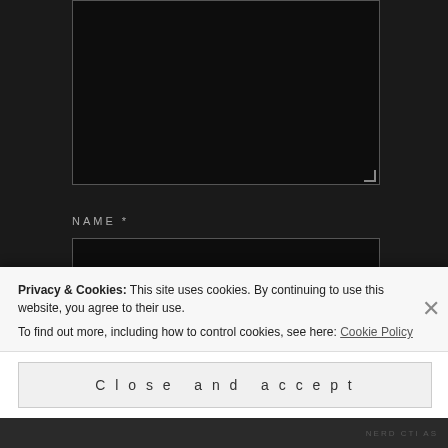NAME *
EMAIL *
WEBSITE
Privacy & Cookies: This site uses cookies. By continuing to use this website, you agree to their use.
To find out more, including how to control cookies, see here: Cookie Policy
Close and accept
NERD CTI AS